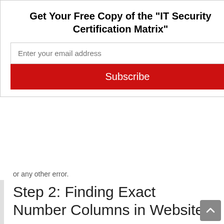Get Your Free Copy of the "IT Security Certification Matrix"
Enter your email address
Subscribe
or any other error.
Step 2: Finding Exact Number Columns in Website
Once you know that website is vulnerable to SQL Injection, next step is to find exact number of columns in website database. Which you can know by running below query :
“ www.example.com/shop.php?id=6 ORDER BY <NUM>-